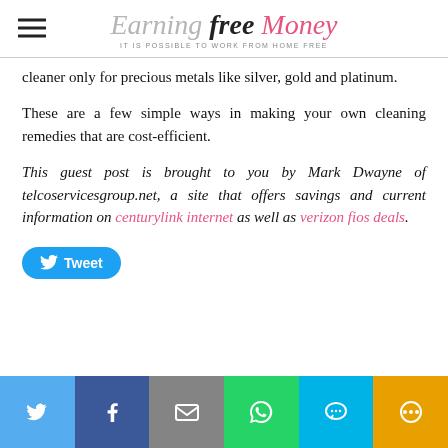Earning Free Money – IT IS POSSIBLE TO WORK FROM HOME FREE
cleaner only for precious metals like silver, gold and platinum.
These are a few simple ways in making your own cleaning remedies that are cost-efficient.
This guest post is brought to you by Mark Dwayne of telcoservicesgroup.net, a site that offers savings and current information on centurylink internet as well as verizon fios deals.
[Figure (other): Tweet button (Twitter share button)]
Social share bar with Twitter, Facebook, Email, WhatsApp, SMS, and More icons